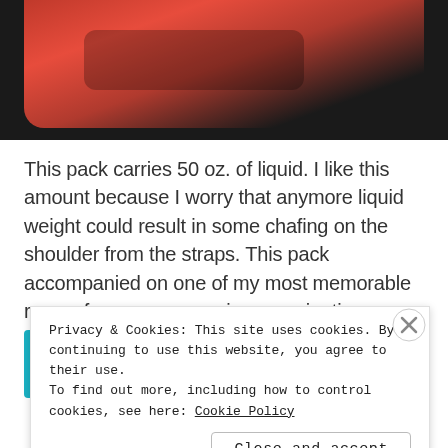[Figure (photo): Top portion of a red hydration running pack against dark background, showing red fabric straps and mesh]
This pack carries 50 oz. of liquid.  I like this amount because I worry that anymore liquid weight could result in some chafing on the shoulder from the straps.  This pack accompanied on one of my most memorable runs a few years ago, circumnavigating Rangeley Lake:
[Figure (screenshot): Partial screenshot of a mobile phone screen showing time 8:36 and LTE signal indicator on a teal/cyan background]
Privacy & Cookies: This site uses cookies. By continuing to use this website, you agree to their use.
To find out more, including how to control cookies, see here: Cookie Policy
Close and accept